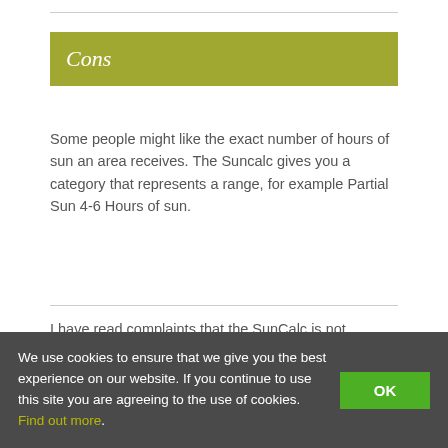Cons
Some people might like the exact number of hours of sun an area receives. The Suncalc gives you a category that represents a range, for example Partial Sun 4-6 Hours of sun.
I have read complaints that the SunCalc is not waterproof. I haven't had any problems with this. But I have always used it on days when the weather forecast predicted sun and no rain. I saw one suggestion to put plastic wrap over the gauge. However, I wonder if that wouldn't affect the accuracy of the gauge when the sun was out.
We use cookies to ensure that we give you the best experience on our website. If you continue to use this site you are agreeing to the use of cookies. Find out more.